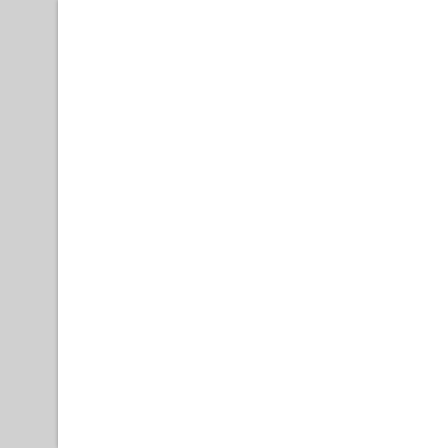attend any game for the team at whose game the misconduct occurred. The coach may attend practices of that team and games of other teams unless notified of additional restrictions by the Regional Commissioner.
These sanctions apply only to the discipline of adult spectators or coaches. This policy does not apply to AYSO players or youth (under age 18) spectators.
These sanctions